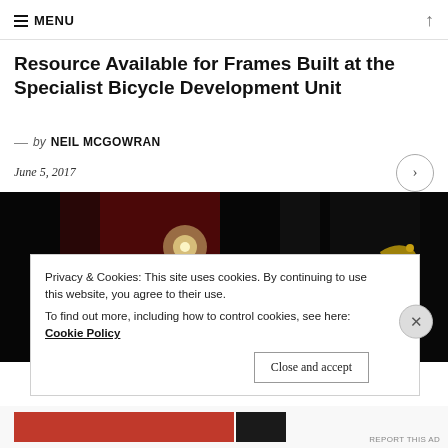MENU
Resource Available for Frames Built at the Specialist Bicycle Development Unit
— by NEIL MCGOWRAN
June 5, 2017
[Figure (photo): Close-up photo of bicycle frame in dark background with red and gold decorative elements, possibly a military or ceremonial bicycle]
Privacy & Cookies: This site uses cookies. By continuing to use this website, you agree to their use.
To find out more, including how to control cookies, see here: Cookie Policy
Close and accept